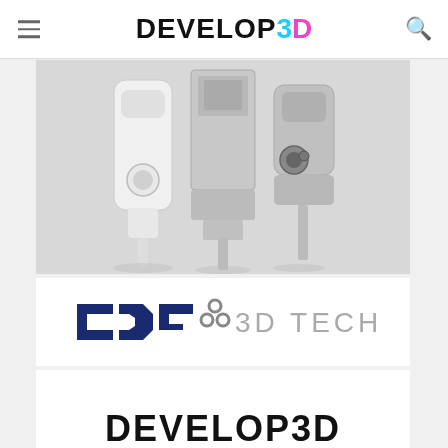DEVELOP3D
[Figure (photo): 3D scanners/devices displayed on grey background - three scanner devices shown]
[Figure (logo): CDG 3D TECH logo on white background]
[Figure (logo): DEVELOP3D LIVE logo with dot-matrix style text on white background]